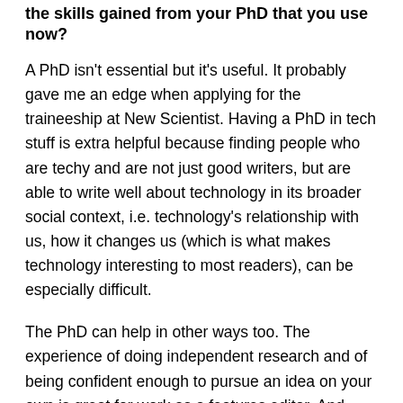the skills gained from your PhD that you use now?
A PhD isn't essential but it's useful. It probably gave me an edge when applying for the traineeship at New Scientist. Having a PhD in tech stuff is extra helpful because finding people who are techy and are not just good writers, but are able to write well about technology in its broader social context, i.e. technology's relationship with us, how it changes us (which is what makes technology interesting to most readers), can be especially difficult.
The PhD can help in other ways too. The experience of doing independent research and of being confident enough to pursue an idea on your own is great for work as a features editor. And having an insight into what research actually is helps in science journalism.